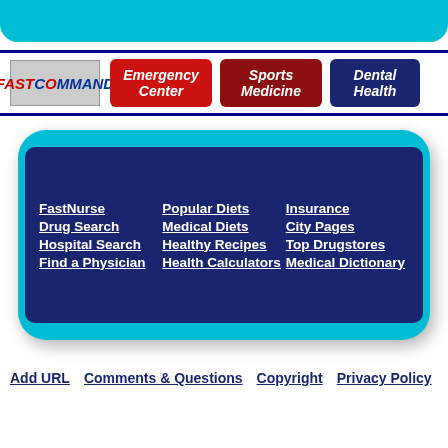[Figure (screenshot): Cyan rounded top navigation bar at the top of the page]
[Figure (logo): FastCommand logo in red and blue italic text on gray background]
[Figure (screenshot): Emergency Center red button]
[Figure (screenshot): Sports Medicine dark red button]
[Figure (screenshot): Dental Health navy button (partially visible)]
[Figure (infographic): Cyan rounded rectangle section containing navy navigation links box with columns of links: FastNurse, Drug Search, Hospital Search, Find a Physician | Popular Diets, Medical Diets, Healthy Recipes, Health Calculators | Insurance, City Pages, Top Drugstores, Medical Dictionary]
FastNurse
Drug Search
Hospital Search
Find a Physician
Popular Diets
Medical Diets
Healthy Recipes
Health Calculators
Insurance
City Pages
Top Drugstores
Medical Dictionary
Add URL   Comments & Questions   Copyright   Privacy Policy